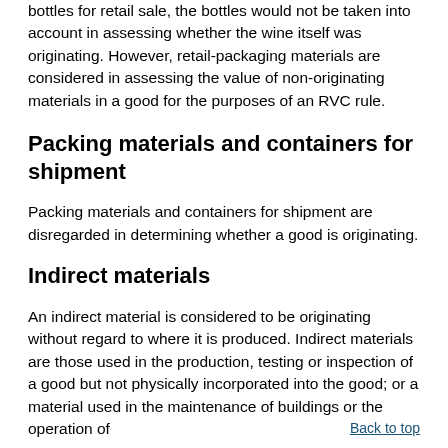bottles for retail sale, the bottles would not be taken into account in assessing whether the wine itself was originating. However, retail-packaging materials are considered in assessing the value of non-originating materials in a good for the purposes of an RVC rule.
Packing materials and containers for shipment
Packing materials and containers for shipment are disregarded in determining whether a good is originating.
Indirect materials
An indirect material is considered to be originating without regard to where it is produced. Indirect materials are those used in the production, testing or inspection of a good but not physically incorporated into the good; or a material used in the maintenance of buildings or the operation of
Back to top